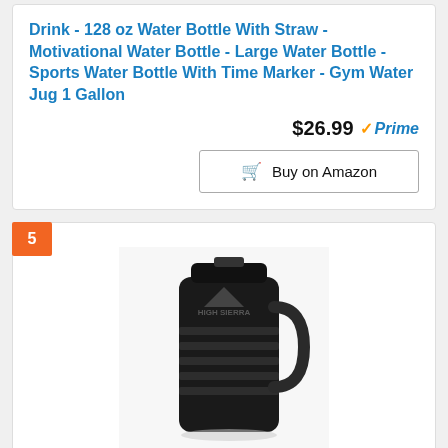Drink - 128 oz Water Bottle With Straw - Motivational Water Bottle - Large Water Bottle - Sports Water Bottle With Time Marker - Gym Water Jug 1 Gallon
$26.99 Prime
Buy on Amazon
5
[Figure (photo): A black High Sierra 64 oz insulated water jug with handle and rubberized grip, shown on a white background.]
HIGH SIERRA, 64 oz Insulated Water Jug,